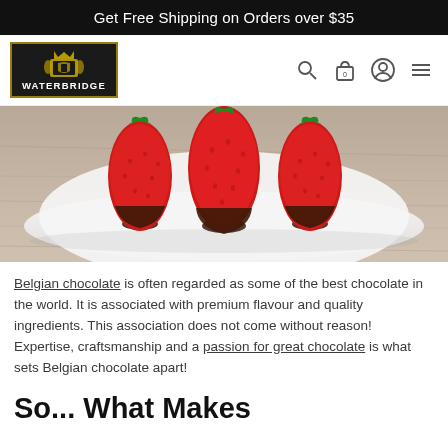Get Free Shipping on Orders over $35
[Figure (logo): Waterbridge logo: black box with gold border, heraldic emblem and WATERBRIDGE text in white]
[Figure (photo): Three chocolate-dipped strawberries on a white plate on a wooden surface]
Belgian chocolate is often regarded as some of the best chocolate in the world. It is associated with premium flavour and quality ingredients. This association does not come without reason! Expertise, craftsmanship and a passion for great chocolate is what sets Belgian chocolate apart!
So... What Makes